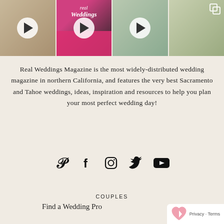[Figure (photo): Four-panel photo strip showing wedding-related images: close-up of fabric/details, Real Weddings Magazine booth with pink tablecloth, bride in white dress with green couch, and outdoor wedding ceremony in natural setting]
Real Weddings Magazine is the most widely-distributed wedding magazine in northern California, and features the very best Sacramento and Tahoe weddings, ideas, inspiration and resources to help you plan your most perfect wedding day!
[Figure (infographic): Social media icons row: Pinterest, Facebook, Instagram, Twitter, YouTube]
COUPLES
Find a Wedding Pro